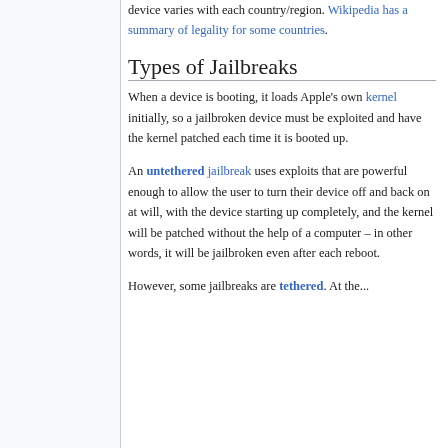device varies with each country/region. Wikipedia has a summary of legality for some countries.
Types of Jailbreaks
When a device is booting, it loads Apple's own kernel initially, so a jailbroken device must be exploited and have the kernel patched each time it is booted up.
An untethered jailbreak uses exploits that are powerful enough to allow the user to turn their device off and back on at will, with the device starting up completely, and the kernel will be patched without the help of a computer – in other words, it will be jailbroken even after each reboot.
However, some jailbreaks are tethered. At the...